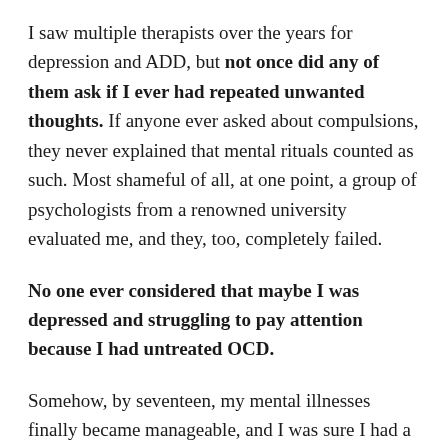I saw multiple therapists over the years for depression and ADD, but not once did any of them ask if I ever had repeated unwanted thoughts. If anyone ever asked about compulsions, they never explained that mental rituals counted as such. Most shameful of all, at one point, a group of psychologists from a renowned university evaluated me, and they, too, completely failed.
No one ever considered that maybe I was depressed and struggling to pay attention because I had untreated OCD.
Somehow, by seventeen, my mental illnesses finally became manageable, and I was sure I had a good life ahead of me. But then my nightmare happened all over again.